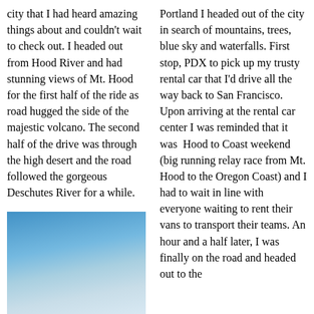city that I had heard amazing things about and couldn't wait to check out. I headed out from Hood River and had stunning views of Mt. Hood for the first half of the ride as road hugged the side of the majestic volcano. The second half of the drive was through the high desert and the road followed the gorgeous Deschutes River for a while.
[Figure (photo): A photo with a blue sky background, partially visible, appearing to show an outdoor scene with light and blue tones.]
Portland I headed out of the city in search of mountains, trees, blue sky and waterfalls. First stop, PDX to pick up my trusty rental car that I'd drive all the way back to San Francisco. Upon arriving at the rental car center I was reminded that it was Hood to Coast weekend (big running relay race from Mt. Hood to the Oregon Coast) and I had to wait in line with everyone waiting to rent their vans to transport their teams. An hour and a half later, I was finally on the road and headed out to the